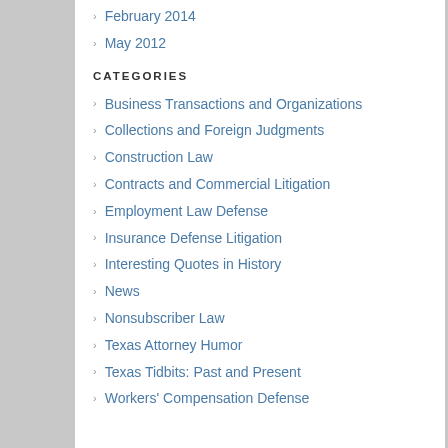February 2014
May 2012
CATEGORIES
Business Transactions and Organizations
Collections and Foreign Judgments
Construction Law
Contracts and Commercial Litigation
Employment Law Defense
Insurance Defense Litigation
Interesting Quotes in History
News
Nonsubscriber Law
Texas Attorney Humor
Texas Tidbits: Past and Present
Workers' Compensation Defense